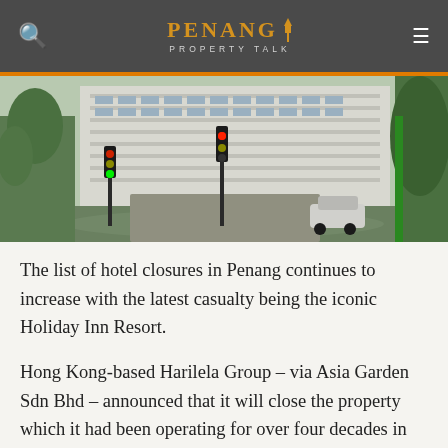Penang Property Talk
[Figure (photo): Exterior view of Holiday Inn Resort Penang in Batu Ferringhi, showing the hotel building facade with palm trees, traffic lights, and parked cars in the foreground.]
The list of hotel closures in Penang continues to increase with the latest casualty being the iconic Holiday Inn Resort.
Hong Kong-based Harilela Group – via Asia Garden Sdn Bhd – announced that it will close the property which it had been operating for over four decades in Batu Ferringhi by June 30.
“As you are aware, the company has carried out